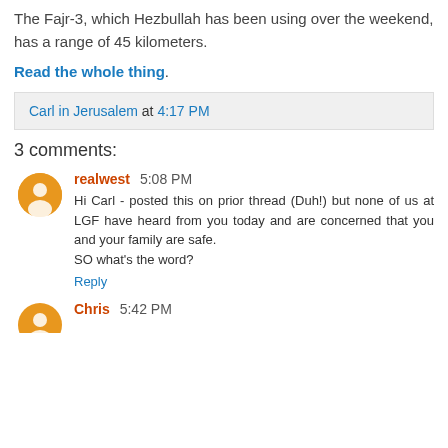The Fajr-3, which Hezbullah has been using over the weekend, has a range of 45 kilometers.
Read the whole thing.
Carl in Jerusalem at 4:17 PM
3 comments:
realwest 5:08 PM
Hi Carl - posted this on prior thread (Duh!) but none of us at LGF have heard from you today and are concerned that you and your family are safe.
SO what's the word?
Reply
Chris 5:42 PM